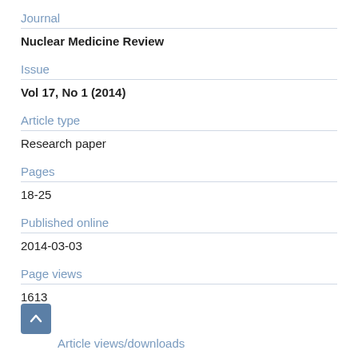Journal
Nuclear Medicine Review
Issue
Vol 17, No 1 (2014)
Article type
Research paper
Pages
18-25
Published online
2014-03-03
Page views
1613
Article views/downloads